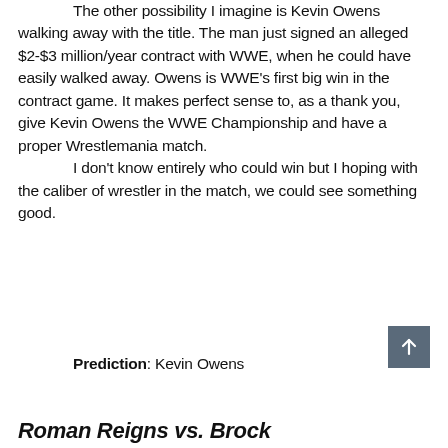The other possibility I imagine is Kevin Owens walking away with the title. The man just signed an alleged $2-$3 million/year contract with WWE, when he could have easily walked away. Owens is WWE's first big win in the contract game. It makes perfect sense to, as a thank you, give Kevin Owens the WWE Championship and have a proper Wrestlemania match. I don't know entirely who could win but I hoping with the caliber of wrestler in the match, we could see something good.
Prediction: Kevin Owens
Roman Reigns vs. Brock